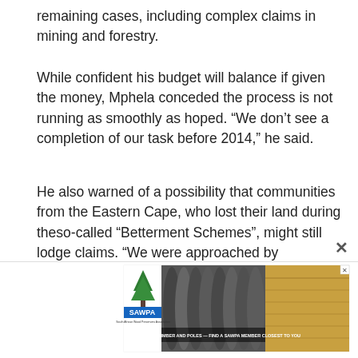remaining cases, including complex claims in mining and forestry.
While confident his budget will balance if given the money, Mphela conceded the process is not running as smoothly as hoped. “We don’t see a completion of our task before 2014,” he said.
He also warned of a possibility that communities from the Eastern Cape, who lost their land during theso-called “Betterment Schemes”, might still lodge claims. “We were approached by communities as they were never compensated for their loss, but didn’t lodge claims during the window period,” explained Mphela. “If a claim is lodged now, it could affect up to 200 000 people.”
Allowing another claim to be lodged now might open the
[Figure (other): SAWPA advertisement banner: South African Wood Preservers Association logo with a triangular tree/building icon, text FOR TREATED TIMBER AND POLES — FIND A SAWPA MEMBER CLOSEST TO YOU, with background photos of timber poles and wood.]